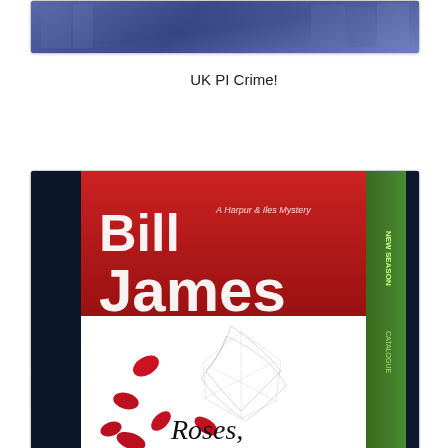[Figure (photo): Partially visible top portion of a photo showing books on a shelf with a dark blue background]
UK PI Crime!
[Figure (photo): Photo of Bill James 'Roses, Roses' book (A Harpur & Iles Mystery) on a shelf surrounded by other books. Red and white cover with rose petals.]
Harpur and Iles series,